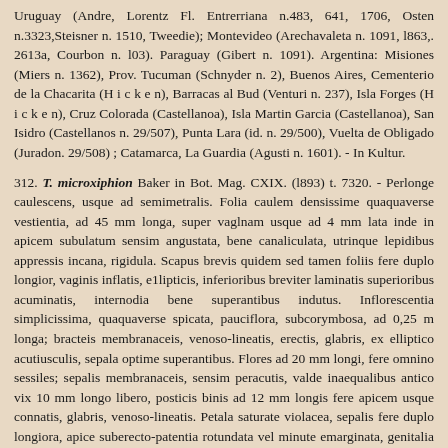Uruguay (Andre, Lorentz Fl. Entrerriana n.483, 641, 1706, Osten n.3323, Steisner n. 1510, Tweedie); Montevideo (Arechavaleta n. 1091, l863,. 2613a, Courbon n. l03). Paraguay (Gibert n. 1091). Argentina: Misiones (Miers n. 1362), Prov. Tucuman (Schnyder n. 2), Buenos Aires, Cementerio de la Chacarita (H i c k e n), Barracas al Bud (Venturi n. 237), Isla Forges (H i c k e n), Cruz Colorada (Castellanoa), Isla Martin Garcia (Castellanoa), San Isidro (Castellanos n. 29/507), Punta Lara (id. n. 29/500), Vuelta de Obligado (Juradon. 29/508) ; Catamarca, La Guardia (Agusti n. 1601). - In Kultur.
312. T. microxiphion Baker in Bot. Mag. CXIX. (l893) t. 7320. - Perlonge caulescens, usque ad semimetralis. Folia caulem densissime quaquaverse vestientia, ad 45 mm longa, super vaglnam usque ad 4 mm lata inde in apicem subulatum sensim angustata, bene canaliculata, utrinque lepidibus appressis incana, rigidula. Scapus brevis quidem sed tamen foliis fere duplo longior, vaginis inflatis, e1lipticis, inferioribus breviter laminatis superioribus acuminatis, internodia bene superantibus indutus. Inflorescentia simplicissima, quaquaverse spicata, pauciflora, subcorymbosa, ad 0,25 m longa; bracteis membranaceis, venoso-lineatis, erectis, glabris, ex elliptico acutiusculis, sepala optime superantibus. Flores ad 20 mm longi, fere omnino sessiles; sepalis membranaceis, sensim peracutis, valde inaequalibus antico vix 10 mm longo libero, posticis binis ad 12 mm longis fere apicem usque connatis, glabris, venoso-lineatis. Petala saturate violacea, sepalis fere duplo longiora, apice suberecto-patentia rotundata vel minute emarginata, genitalia e fauce emergentia longe superantia.
Paraguay: bei Caaguazu (Hassler n. 9148). - Durch Andre aus Montevideo (Uruguay) lebend eingefuhrt.
Nota. Huic aliquantulum accedit:
Tillandsia triflora Vell. Fl. Flumin. III. (1827) t. 134. – Diaphoranthema triflora Beer, Bromel. (l857) 155 -, monstrum ineptissime delineatum, cujus et radices et caules omnino immersi, hilas, Ramos floriferos cum foliis pro Sodiroa accipimus